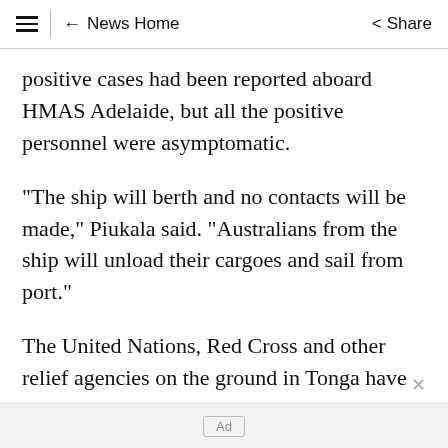≡  ← News Home  Share
positive cases had been reported aboard HMAS Adelaide, but all the positive personnel were asymptomatic.
"The ship will berth and no contacts will be made," Piukala said. "Australians from the ship will unload their cargoes and sail from port."
The United Nations, Red Cross and other relief agencies on the ground in Tonga have warned that a COVID-19 outbreak in the island would
Ad